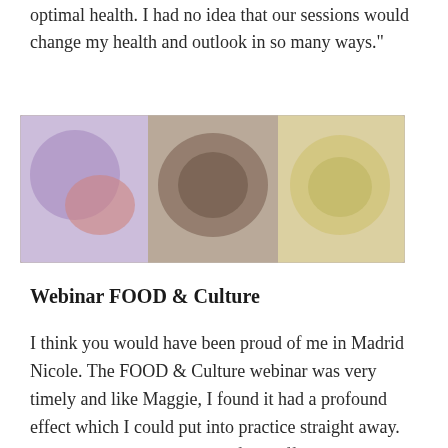optimal health. I had no idea that our sessions would change my health and outlook in so many ways."
[Figure (photo): A collage of food dishes including what appears to be various colorful plates of food, blurred/soft focus]
Webinar FOOD & Culture
I think you would have been proud of me in Madrid Nicole. The FOOD & Culture webinar was very timely and like Maggie, I found it had a profound effect which I could put into practice straight away. The hotel had a lovely breakfast buffet and apart from